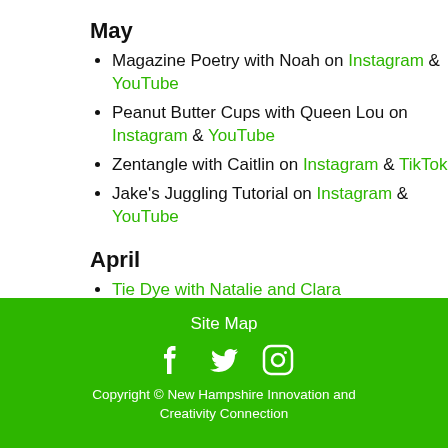May
Magazine Poetry with Noah on Instagram & YouTube
Peanut Butter Cups with Queen Lou on Instagram & YouTube
Zentangle with Caitlin on Instagram & TikTok
Jake's Juggling Tutorial on Instagram & YouTube
April
Tie Dye with Natalie and Clara
Site Map
Copyright © New Hampshire Innovation and Creativity Connection